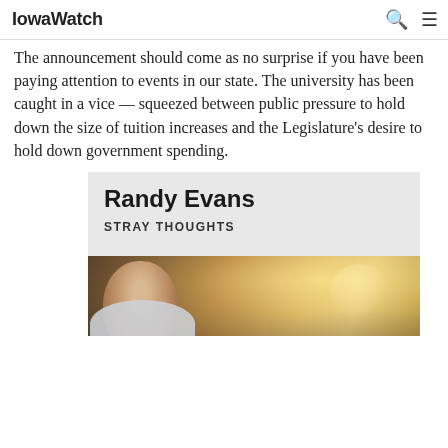IowaWatch
The announcement should come as no surprise if you have been paying attention to events in our state. The university has been caught in a vice — squeezed between public pressure to hold down the size of tuition increases and the Legislature's desire to hold down government spending.
Randy Evans
STRAY THOUGHTS
[Figure (photo): Portrait photo of Randy Evans, showing a person from the shoulders up with warm backlit outdoor lighting]